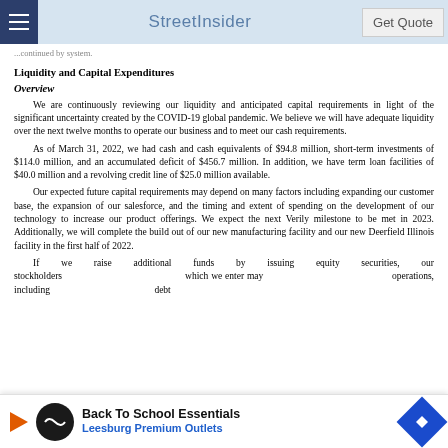StreetInsider | Get Quote
...continued by prior text...
Liquidity and Capital Expenditures
Overview
We are continuously reviewing our liquidity and anticipated capital requirements in light of the significant uncertainty created by the COVID-19 global pandemic. We believe we will have adequate liquidity over the next twelve months to operate our business and to meet our cash requirements.
As of March 31, 2022, we had cash and cash equivalents of $94.8 million, short-term investments of $114.0 million, and an accumulated deficit of $456.7 million. In addition, we have term loan facilities of $40.0 million and a revolving credit line of $25.0 million available.
Our expected future capital requirements may depend on many factors including expanding our customer base, the expansion of our salesforce, and the timing and extent of spending on the development of our technology to increase our product offerings. We expect the next Verily milestone to be met in 2023. Additionally, we will complete the build out of our new manufacturing facility and our new Deerfield Illinois facility in the first half of 2022.
If we raise additional funds by issuing equity securities, our stockholders ... which we enter may ... operations, including ... debt ...
[Figure (other): Advertisement banner: Back To School Essentials - Leesburg Premium Outlets]